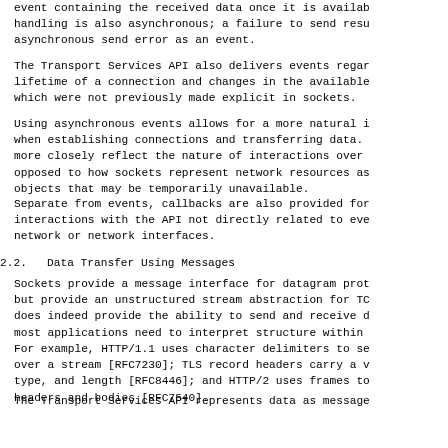event containing the received data once it is availab. handling is also asynchronous; a failure to send resu. asynchronous send error as an event.
The Transport Services API also delivers events regard. lifetime of a connection and changes in the available. which were not previously made explicit in sockets.
Using asynchronous events allows for a more natural i. when establishing connections and transferring data. more closely reflect the nature of interactions over n. opposed to how sockets represent network resources as. objects that may be temporarily unavailable.
Separate from events, callbacks are also provided for. interactions with the API not directly related to eve. network or network interfaces.
2.2.  Data Transfer Using Messages
Sockets provide a message interface for datagram proto. but provide an unstructured stream abstraction for TC. does indeed provide the ability to send and receive d. most applications need to interpret structure within. For example, HTTP/1.1 uses character delimiters to se. over a stream [RFC7230]; TLS record headers carry a v. type, and length [RFC8446]; and HTTP/2 uses frames to. headers and bodies [RFC7540].
The Transport Services API represents data as messages